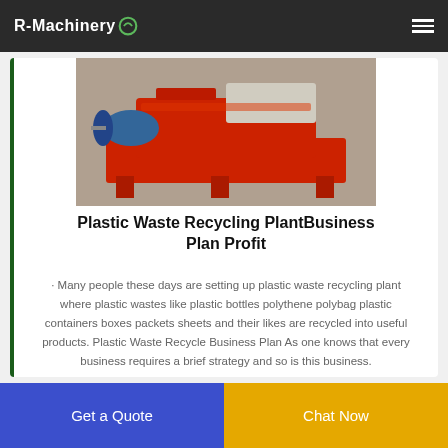R-Machinery
[Figure (photo): Red industrial plastic waste recycling machine with blue motor, on concrete floor]
Plastic Waste Recycling PlantBusiness Plan Profit
· Many people these days are setting up plastic waste recycling plant where plastic wastes like plastic bottles polythene polybag plastic containers boxes packets sheets and their likes are recycled into useful products. Plastic Waste Recycle Business Plan As one knows that every business requires a brief strategy and so is this business.
Get a Quote | Chat Now